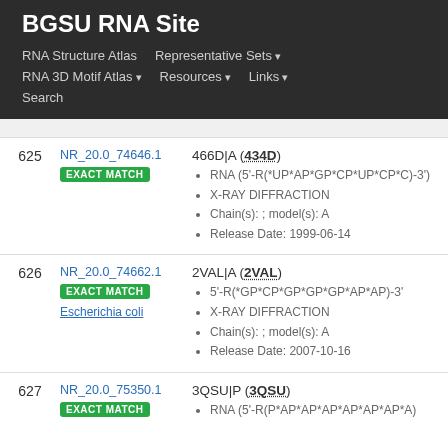BGSU RNA Site
RNA Structure Atlas | Representative Sets ▾ | RNA 3D Motif Atlas ▾ | Resources ▾ | Links ▾ | Search
| # | ID | Info |
| --- | --- | --- |
| 625 | NR_20.0_74646.1 EXACT MATCH | 466D|A (434D)
• RNA (5'-R(*UP*AP*GP*CP*UP*CP*C)-3')
• X-RAY DIFFRACTION
• Chain(s): ; model(s): A
• Release Date: 1999-06-14 |
| 626 | NR_20.0_74662.1 EXACT MATCH Escherichia coli | 2VAL|A (2VAL)
• 5'-R(*GP*CP*GP*GP*GP*AP*AP)-3'
• X-RAY DIFFRACTION
• Chain(s): ; model(s): A
• Release Date: 2007-10-16 |
| 627 | NR_20.0_75350.1 EXACT MATCH | 3QSU|P (3QSU)
• RNA (5'-R(P*AP*AP*AP*AP*AP*AP*A)... |